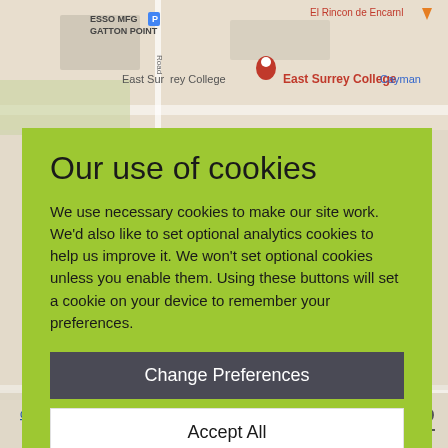[Figure (screenshot): Google Maps screenshot showing East Surrey College area with streets and map labels including ESSO MFG GATTON POINT, East Surrey College, El Rincon de Encarnl, Cayman]
Our use of cookies
We use necessary cookies to make our site work. We'd also like to set optional analytics cookies to help us improve it. We won't set optional cookies unless you enable them. Using these buttons will set a cookie on your device to remember your preferences.
Change Preferences
Accept All
clientservices@esc.ac.uk